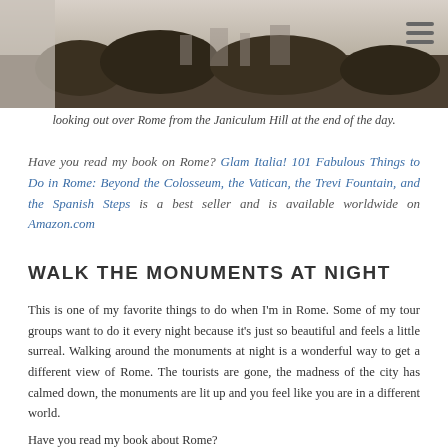[Figure (photo): Photo strip at top of page showing a scenic view of Rome from Janiculum Hill at end of day, partially cropped]
looking out over Rome from the Janiculum Hill at the end of the day.
Have you read my book on Rome? Glam Italia! 101 Fabulous Things to Do in Rome: Beyond the Colosseum, the Vatican, the Trevi Fountain, and the Spanish Steps is a best seller and is available worldwide on Amazon.com
WALK THE MONUMENTS AT NIGHT
This is one of my favorite things to do when I'm in Rome. Some of my tour groups want to do it every night because it's just so beautiful and feels a little surreal. Walking around the monuments at night is a wonderful way to get a different view of Rome. The tourists are gone, the madness of the city has calmed down, the monuments are lit up and you feel like you are in a different world.
Have you read my book about Rome?